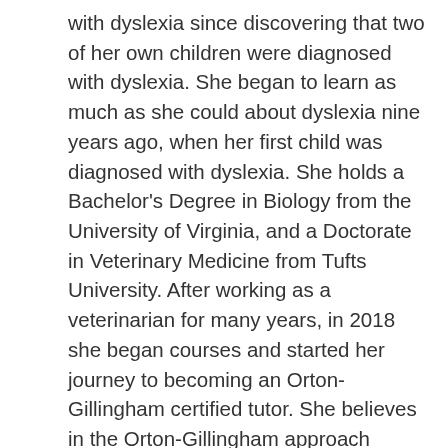with dyslexia since discovering that two of her own children were diagnosed with dyslexia. She began to learn as much as she could about dyslexia nine years ago, when her first child was diagnosed with dyslexia. She holds a Bachelor's Degree in Biology from the University of Virginia, and a Doctorate in Veterinary Medicine from Tufts University. After working as a veterinarian for many years, in 2018 she began courses and started her journey to becoming an Orton-Gillingham certified tutor. She believes in the Orton-Gillingham approach because it is based on science, another passion of hers, and is amazingly similar to the way doctors approach medical cases, with respect to individualized treatment and response to treatment. This year she has begun training to apply the Orton-Gillingham approach to teaching mathematics (Multisensory Math) to students. Her favorite thing about Edison is interacting with the students and making sure they know how amazing they are and how